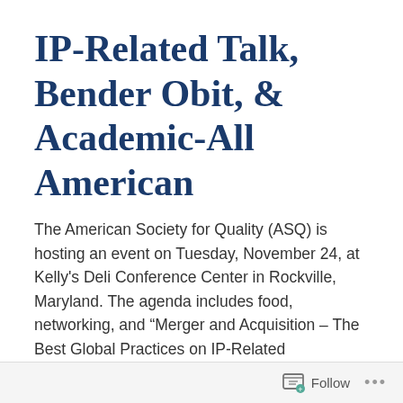IP-Related Talk, Bender Obit, & Academic-All American
The American Society for Quality (ASQ) is hosting an event on Tuesday, November 24, at Kelly's Deli Conference Center in Rockville, Maryland. The agenda includes food, networking, and “Merger and Acquisition – The Best Global Practices on IP-Related Transactions” by Poh C. Chua (DC G ‘88). Chua is an attorney and partner with Lee and Hayes in DC, chief IP counsel with Zhejiang Geely Holding Group Co Ltd., and advisor to the DC Gamma Chapter of Tau Beta Pi at The George Washington
Follow